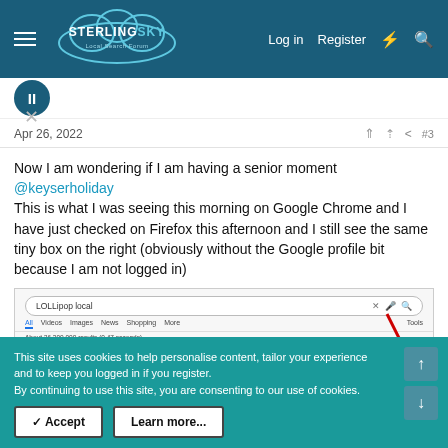Sterling Sky Local Search Forum — Log in  Register
Apr 26, 2022   #3
Now I am wondering if I am having a senior moment
@keyserholiday
This is what I was seeing this morning on Google Chrome and I have just checked on Firefox this afternoon and I still see the same tiny box on the right (obviously without the Google profile bit because I am not logged in)
[Figure (screenshot): Screenshot of Google search results page for 'LOLLipop local' with a red arrow pointing to the right side of the page]
This site uses cookies to help personalise content, tailor your experience and to keep you logged in if you register.
By continuing to use this site, you are consenting to our use of cookies.